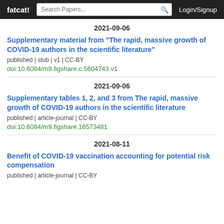fatcat! | Search Papers... | Login/Signup
2021-09-06
Supplementary material from "The rapid, massive growth of COVID-19 authors in the scientific literature"
published | stub | v1 | CC-BY
doi:10.6084/m9.figshare.c.5604743.v1
2021-09-06
Supplementary tables 1, 2, and 3 from The rapid, massive growth of COVID-19 authors in the scientific literature
published | article-journal | CC-BY
doi:10.6084/m9.figshare.16573481
2021-08-11
Benefit of COVID-19 vaccination accounting for potential risk compensation
published | article-journal | CC-BY